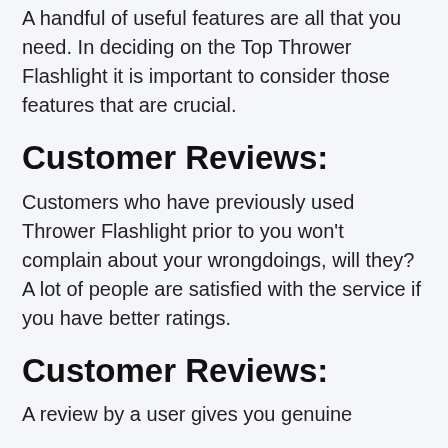A handful of useful features are all that you need. In deciding on the Top Thrower Flashlight it is important to consider those features that are crucial.
Customer Reviews:
Customers who have previously used Thrower Flashlight prior to you won't complain about your wrongdoings, will they? A lot of people are satisfied with the service if you have better ratings.
Customer Reviews:
A review by a user gives you genuine